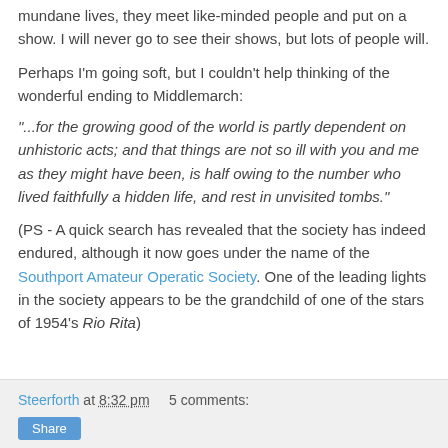mundane lives, they meet like-minded people and put on a show. I will never go to see their shows, but lots of people will.
Perhaps I'm going soft, but I couldn't help thinking of the wonderful ending to Middlemarch:
"...for the growing good of the world is partly dependent on unhistoric acts; and that things are not so ill with you and me as they might have been, is half owing to the number who lived faithfully a hidden life, and rest in unvisited tombs."
(PS - A quick search has revealed that the society has indeed endured, although it now goes under the name of the Southport Amateur Operatic Society. One of the leading lights in the society appears to be the grandchild of one of the stars of 1954's Rio Rita)
Steerforth at 8:32 pm   5 comments: